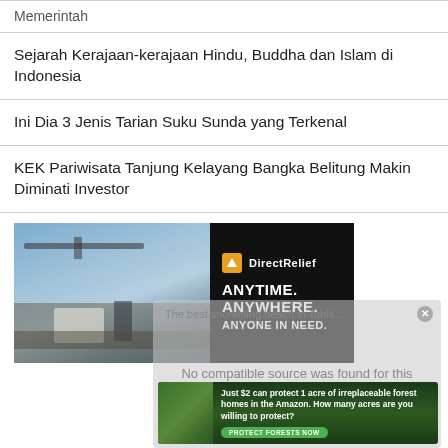Memerintah
Sejarah Kerajaan-kerajaan Hindu, Buddha dan Islam di Indonesia
Ini Dia 3 Jenis Tarian Suku Sunda yang Terkenal
KEK Pariwisata Tanjung Kelayang Bangka Belitung Makin Diminati Investor
[Figure (photo): Advertisement banner: Direct Relief - helicopter loading medical supplies. Text: ANYTIME. ANYWHERE. ANYONE IN NEED.]
[Figure (screenshot): Video player overlay showing 'The best snorkeling beach in Tahiti...' with error message 'No compatible source was found for this media.']
[Figure (photo): Advertisement banner: Just $2 can protect 1 acre of irreplaceable forest homes in the Amazon. How many acres are you willing to protect? PROTECT FORESTS NOW]